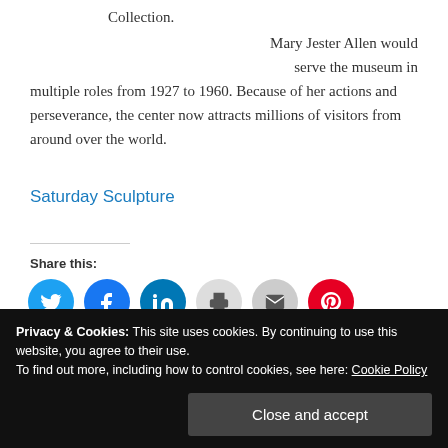Collection.
Mary Jester Allen would serve the museum in multiple roles from 1927 to 1960. Because of her actions and perseverance, the center now attracts millions of visitors from around over the world.
Saturday Sculpture
Share this:
[Figure (infographic): Row of social share icon buttons: Twitter (blue), Facebook (blue), LinkedIn (blue), Print (light gray), Email (gray), Pinterest (red)]
Privacy & Cookies: This site uses cookies. By continuing to use this website, you agree to their use. To find out more, including how to control cookies, see here: Cookie Policy